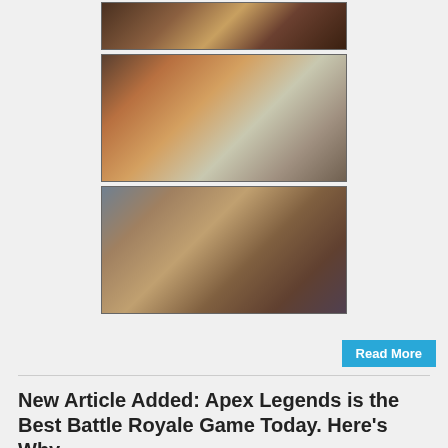[Figure (screenshot): Video game screenshot showing fighting game action with characters in combat]
[Figure (screenshot): Video game screenshot showing an arena/temple environment with a large character in foreground and smaller character in background]
[Figure (screenshot): Video game screenshot showing multiple characters in a group battle scene]
Read More
New Article Added: Apex Legends is the Best Battle Royale Game Today. Here's Why